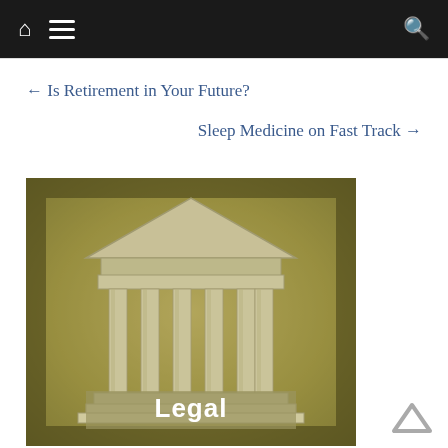Navigation bar with home icon, menu icon, and search icon
← Is Retirement in Your Future?
Sleep Medicine on Fast Track →
[Figure (illustration): Illustration of a classical Greek/Roman temple/courthouse building with columns on a textured olive-green/ochre background, with the word 'Legal' written in bold white text at the bottom center]